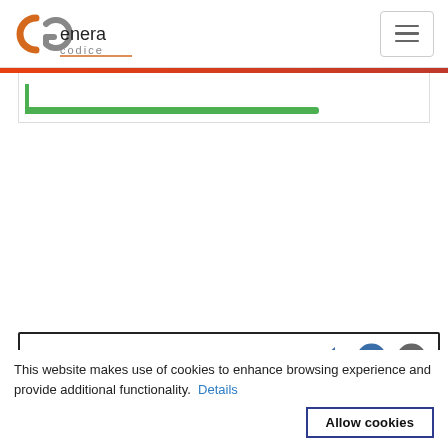Genera codice
[Figure (screenshot): Website navigation bar with Genera codice logo on left and hamburger menu button on right]
[Figure (screenshot): Progress bar with red top stripe and green progress indicator below]
[Figure (screenshot): Media player widget with speaker, pause, and stop icons and a grey content strip]
This website makes use of cookies to enhance browsing experience and provide additional functionality.  Details
Allow cookies